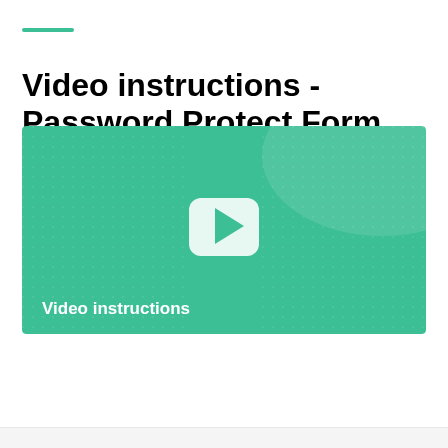Video instructions - Password Protect Form 1040-V IRS Online
[Figure (screenshot): Video thumbnail with teal/green background showing a play button (white rounded rectangle with play triangle) in the center and the text 'Video instructions' in white bold text at the bottom left.]